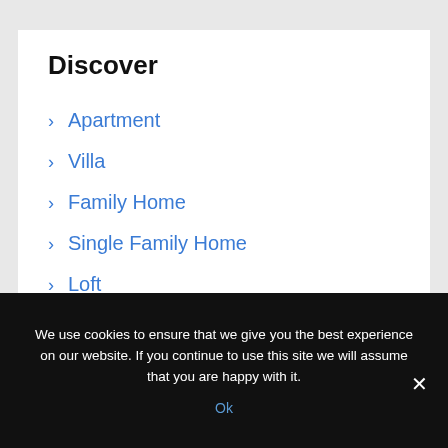Discover
Apartment
Villa
Family Home
Single Family Home
Loft
We use cookies to ensure that we give you the best experience on our website. If you continue to use this site we will assume that you are happy with it.
Ok